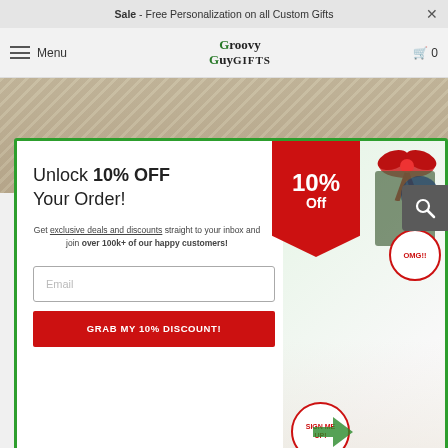Sale - Free Personalization on all Custom Gifts
Menu | Groovy Guy Gifts | 0
[Figure (photo): Hero banner photo showing a framed decorative item on a wooden surface]
[Figure (infographic): Popup modal with green border offering 10% OFF discount. Contains heading 'Unlock 10% OFF Your Order!', subtext about exclusive deals and discounts, email input field, red CTA button 'GRAB MY 10% DISCOUNT!', red pennant badge '10% off', and image of surprised man with gifts and speech bubbles saying 'SIGN ME UP!' and 'OMG!!']
the box! Click through to find the perfect birthday gifts for him!
Read More